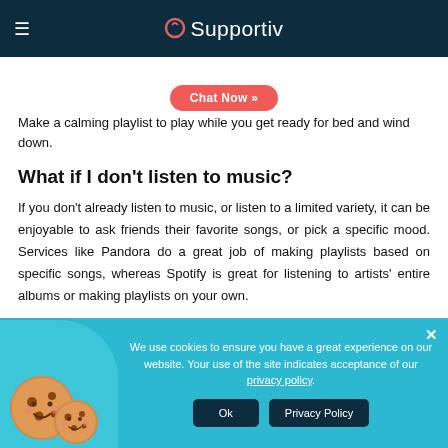Supportiv
Make a calming playlist to play while you get ready for bed and wind down.
What if I don't listen to music?
If you don't already listen to music, or listen to a limited variety, it can be enjoyable to ask friends their favorite songs, or pick a specific mood. Services like Pandora do a great job of making playlists based on specific songs, whereas Spotify is great for listening to artists' entire albums or making playlists on your own.
We use cookies to ensure you have a great experience on our website. Your use of the site indicates acceptance of our privacy policy.